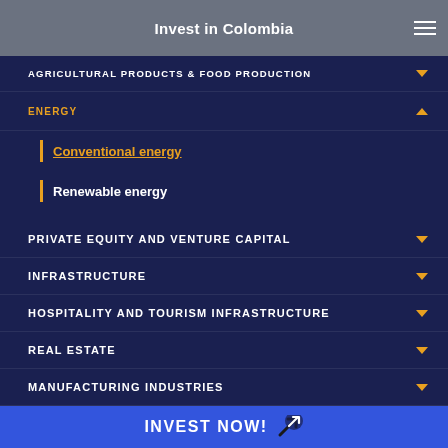Invest in Colombia
AGRICULTURAL PRODUCTS & FOOD PRODUCTION
ENERGY
Conventional energy
Renewable energy
PRIVATE EQUITY AND VENTURE CAPITAL
INFRASTRUCTURE
HOSPITALITY AND TOURISM INFRASTRUCTURE
REAL ESTATE
MANUFACTURING INDUSTRIES
HEALTHCARE SERVICES AND LIFE SCIENCES
INVEST NOW!